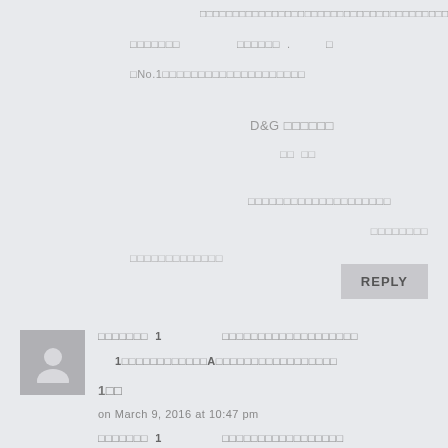□□□□□□□□□□□□□□□□□□□□□□□□□□□□□□□□□□□□□□□□□□□□
□□□□□□□  □□□□□□  .  □
□No.1□□□□□□□□□□□□□□□□□□□□
D&G □□□□□□
□□  □□
□□□□□□□□□□□□□□□□□□□□
□□□□□□□□
□□□□□□□□□□□□□
REPLY
□□□□□□□  1          □□□□□□□□□□□□□□□□□□□
1□□□□□□□□□□□□A□□□□□□□□□□□□□□□□□
1□□
on March 9, 2016 at 10:47 pm
□□□□□□□  1          □□□□□□□□□□□□□□□□□